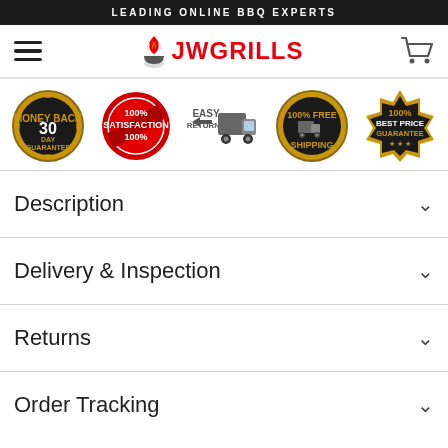LEADING ONLINE BBQ EXPERTS
[Figure (logo): JW Grills logo with hamburger menu icon on left and shopping cart icon on right]
[Figure (infographic): Five trust badge icons: 30 Day Money Back Guarantee (gold), 100% Satisfaction (red), Easy Returns truck, 100% Free Shipping (gold), 100% Best Price Guarantee (gold)]
Description
Delivery & Inspection
Returns
Order Tracking